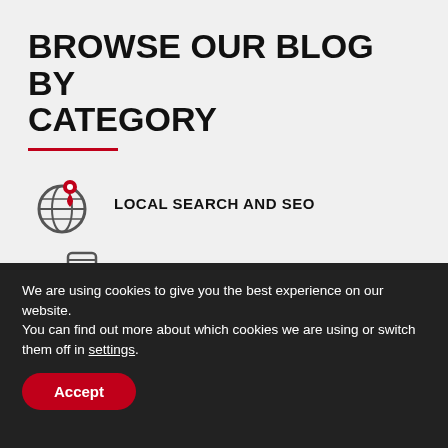BROWSE OUR BLOG BY CATEGORY
LOCAL SEARCH AND SEO
SOCIAL MEDIA
MOBILE AND WEB
We are using cookies to give you the best experience on our website.
You can find out more about which cookies we are using or switch them off in settings.
Accept